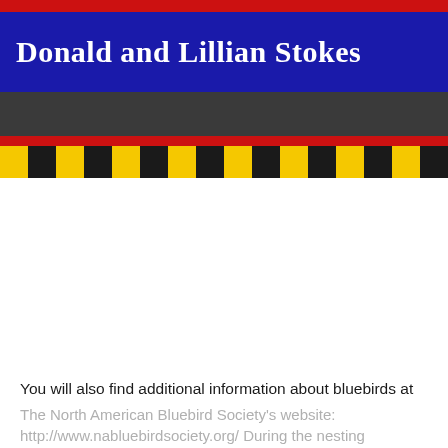[Figure (photo): Book cover photo showing a blue banner with white text reading 'Donald and Lillian Stokes', framed by red borders top and bottom, with a yellow and black striped bar at the bottom, on a dark background.]
You will also find additional information about bluebirds at
The North American Bluebird Society's website: http://www.nabluebirdsociety.org/ During the nesting